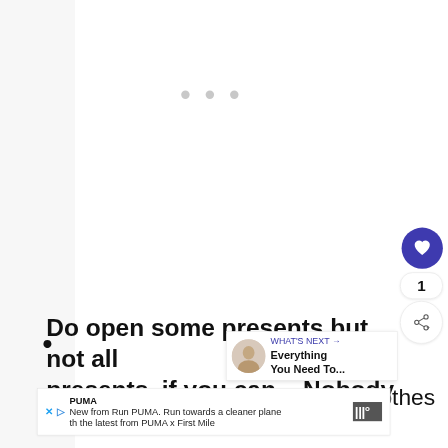[Figure (screenshot): Loading placeholder with three grey dots in the upper content area]
[Figure (screenshot): Heart (like) button: purple circular button with heart icon, count of 1 below, and share button below that]
Do open some presents but not all presents, if you can – Nobody
[Figure (screenshot): What's Next overlay panel showing an avatar photo with label 'WHAT'S NEXT →' and title 'Everything You Need To...']
cooing over teeny, tiny baby clothes so
[Figure (screenshot): PUMA advertisement banner: 'New from Run PUMA. Run towards a cleaner plane… th the latest from PUMA x First Mile' with logo]